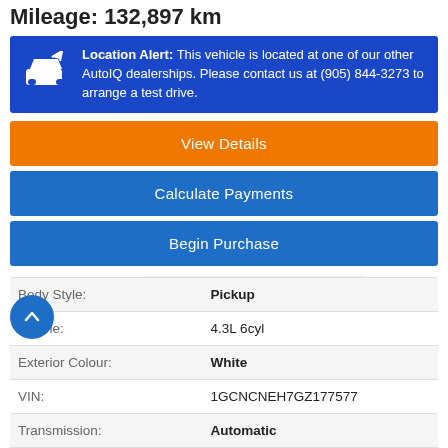Mileage: 132,897 km
Location Alert: This vehicle is located at one of our other AutoIQ dealerships. Please contact us at (905) 844-3273 to arrange a test drive.
View Details
Calculate Payments
Begin Purchase
[Figure (logo): CARFAX Canada logo with maple leaf and VIEW REPORT button]
|  |  |
| --- | --- |
| Body Style: | Pickup |
| Engine: | 4.3L 6cyl |
| Exterior Colour: | White |
| VIN: | 1GCNCNEH7GZ177577 |
| Transmission: | Automatic |